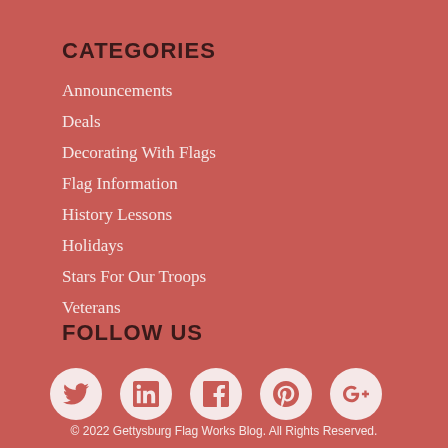CATEGORIES
Announcements
Deals
Decorating With Flags
Flag Information
History Lessons
Holidays
Stars For Our Troops
Veterans
FOLLOW US
[Figure (infographic): Five social media icons in white circles: Twitter, LinkedIn, Facebook, Pinterest, Google+]
© 2022 Gettysburg Flag Works Blog. All Rights Reserved.